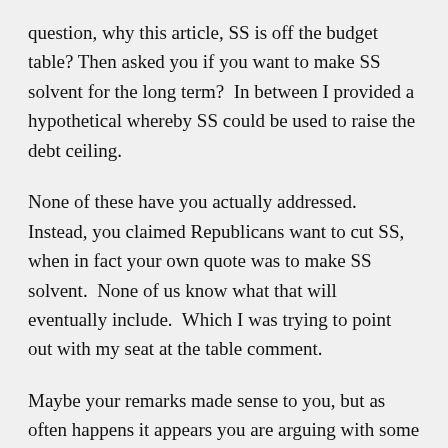question, why this article, SS is off the budget table? Then asked you if you want to make SS solvent for the long term?  In between I provided a hypothetical whereby SS could be used to raise the debt ceiling.
None of these have you actually addressed.  Instead, you claimed Republicans want to cut SS, when in fact your own quote was to make SS solvent.  None of us know what that will eventually include.  Which I was trying to point out with my seat at the table comment.
Maybe your remarks made sense to you, but as often happens it appears you are arguing with some concepts you hold in your own head, but have either not said, or are arguing side issues to what others actually said.